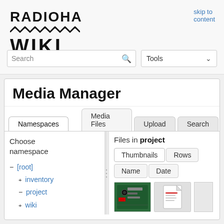skip to content
[Figure (logo): Radiona Wiki logo with zigzag wave decoration]
Search
Tools
Media Manager
Namespaces | Media Files | Upload | Search
Choose namespace
Files in project
Thumbnails | Rows | Name | Date
- [root]
+ inventory
- project
+ wiki
[Figure (photo): Thumbnail of a green PCB circuit board]
[Figure (photo): Thumbnail of a document/file icon]